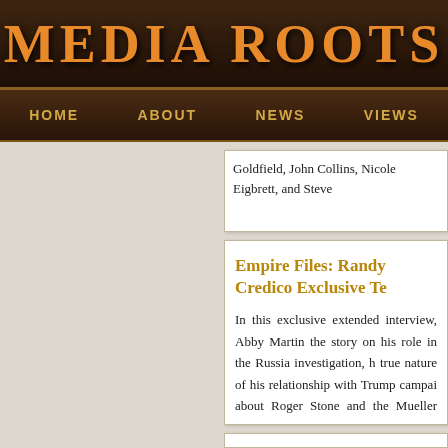MEDIA ROOTS
HOME   ABOUT   NEWS   VIEWS
Goldfield, John Collins, Nicole Eigbrett, and Steve
Empire Files: Randy Credico Exclusive Te
In this exclusive extended interview, Abby Martin the story on his role in the Russia investigation, h true nature of his relationship with Trump campai about Roger Stone and the Mueller investigation,